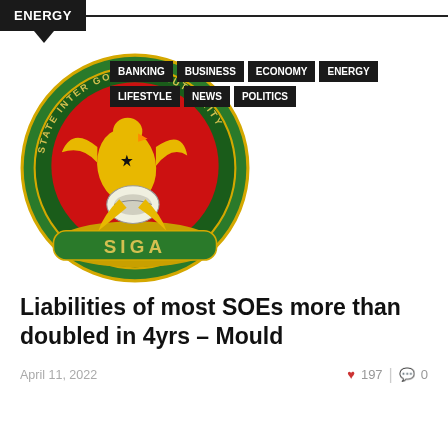ENERGY
[Figure (logo): SIGA (State Interests and Governance Authority) circular logo with green border, red inner circle, yellow eagle, white cowrie shell, and gold ribbon banner reading SIGA]
Liabilities of most SOEs more than doubled in 4yrs – Mould
April 11, 2022
197 | 0